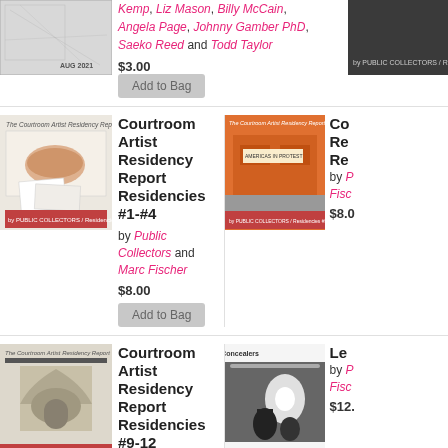[Figure (photo): AUG 2021 illustrated/sketch cover image top left]
Kemp, Liz Mason, Billy McCain, Angela Page, Johnny Gamber PhD, Saeko Reed and Todd Taylor
$3.00
Add to Bag
[Figure (photo): Courtroom Artist Residency Report cover for Residencies #1-#4]
Courtroom Artist Residency Report Residencies #1-#4
by Public Collectors and Marc Fischer
$8.00
Add to Bag
[Figure (photo): Courtroom Artist Residency Report cover for Residencies #5-8 orange building]
Cou Re Re
by P Fisc
$8.0
[Figure (photo): Courtroom Artist Residency Report cover for Residencies #9-12]
Courtroom Artist Residency Report Residencies #9-12
by Public Collectors and Marc Fischer
$8.00
Add to Bag
[Figure (photo): Legal Concealers black and white photo book cover]
Le
by P Fisc
$12.
[Figure (photo): Library Excavations #10 Health and Safety red cover]
Library Excavations #10: Health and Safety
[Figure (photo): Library Excavations #11 grey cover partial]